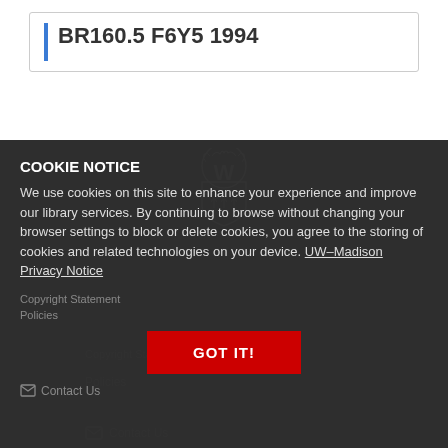BR160.5 F6Y5 1994
[Figure (logo): University of Wisconsin crest/shield logo in outline style, white on dark background]
COOKIE NOTICE
We use cookies on this site to enhance your experience and improve our library services. By continuing to browse without changing your browser settings to block or delete cookies, you agree to the storing of cookies and related technologies on your device. UW–Madison Privacy Notice
Copyright Statement
Policies
GOT IT!
Contact Us